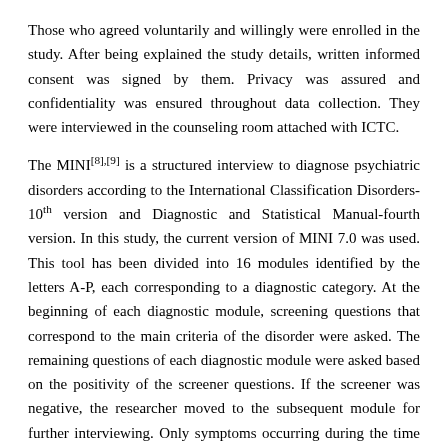Those who agreed voluntarily and willingly were enrolled in the study. After being explained the study details, written informed consent was signed by them. Privacy was assured and confidentiality was ensured throughout data collection. They were interviewed in the counseling room attached with ICTC.
The MINI[8],[9] is a structured interview to diagnose psychiatric disorders according to the International Classification Disorders-10th version and Diagnostic and Statistical Manual-fourth version. In this study, the current version of MINI 7.0 was used. This tool has been divided into 16 modules identified by the letters A-P, each corresponding to a diagnostic category. At the beginning of each diagnostic module, screening questions that correspond to the main criteria of the disorder were asked. The remaining questions of each diagnostic module were asked based on the positivity of the screener questions. If the screener was negative, the researcher moved to the subsequent module for further interviewing. Only symptoms occurring during the time frame indicated were considered in the scoring of the responses. The rating for each question was done at the right-hand side of each question by entering the codes as Yes or No.
The following modules of MINI were administered to the patients to determine